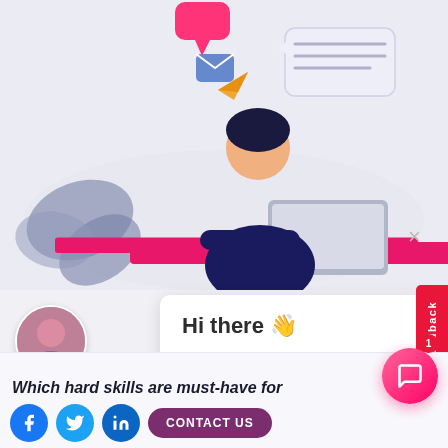[Figure (illustration): Illustration of a person sitting at a desk working on a laptop, with chat bubbles, email icons, and plant leaves in the background. Color palette is blue-grey, pink/magenta, and navy.]
Hi there 👋
If you would like to talk, simply reply to this message. We are online and ready to help.
Arina                                                        just now
Write a reply..
Feedback
Which hard skills are must-have for
CONTACT US